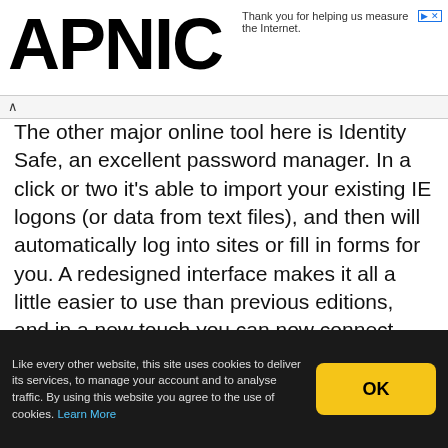APNIC
Thank you for helping us measure the Internet.
The other major online tool here is Identity Safe, an excellent password manager. In a click or two it's able to import your existing IE logons (or data from text files), and then will automatically log into sites or fill in forms for you. A redesigned interface makes it all a little easier to use than previous editions, and in a new touch you can now connect your details to your online Norton account, so easily syncing them with other systems.
Identity Safe has one or two small limitations. You store your details in Identity Cards, for instance, and these can only hold one credit card number (though you can create
Like every other website, this site uses cookies to deliver its services, to manage your account and to analyse traffic. By using this website you agree to the use of cookies. Learn More